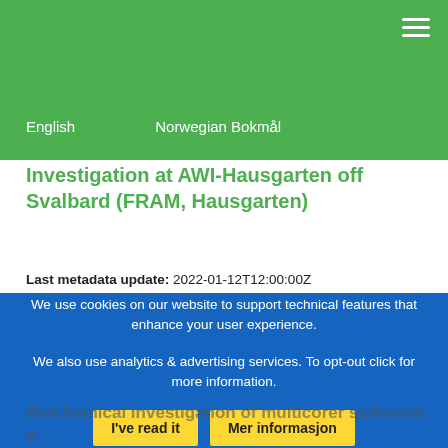English   Norwegian Bokmål
Investigation at AWI-Hausgarten off Svalbard (FRAM, Hausgarten)
Last metadata update: 2022-01-12T12:00:00Z
| Temporal Extent |
| --- |
| Startdato: 2016-07-06T12:00:00Z |
| Sluttdato: 2016-07-06T12:00:00Z |
▶ Show more...
Dataset Landing Page ♂
Data access:
We use cookies on our website to support technical features that enhance your user experience.
We also use analytics & advertising services. To opt-out click for more information.
I've read it   Mer informasjon
Biochemical investigation of multicorer sediment p...